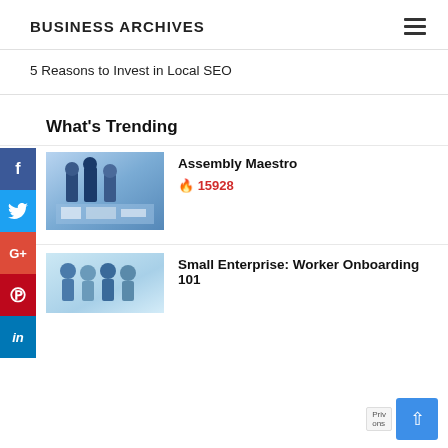BUSINESS ARCHIVES
5 Reasons to Invest in Local SEO
What's Trending
[Figure (photo): Business professionals shaking hands with charts/documents on table, blue-toned office photo]
Assembly Maestro
🔥 15928
[Figure (photo): Small business workers illustration, light blue background]
Small Enterprise: Worker Onboarding 101